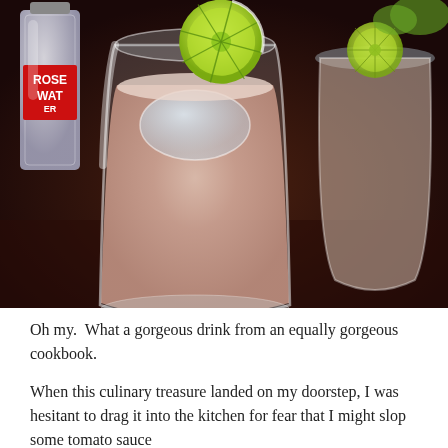[Figure (photo): A close-up photograph of a light pink cocktail drink in a clear glass with a lime slice garnish on the rim. In the background there is a bottle labeled 'Rose Water' and another glass with a similar drink. The setting is on a dark countertop.]
Oh my.  What a gorgeous drink from an equally gorgeous cookbook.
When this culinary treasure landed on my doorstep, I was hesitant to drag it into the kitchen for fear that I might slop some tomato sauce